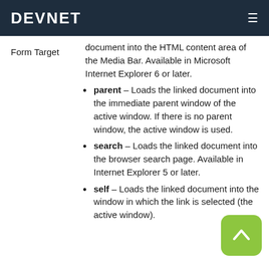DEVNET
document into the HTML content area of the Media Bar. Available in Microsoft Internet Explorer 6 or later.
Form Target
parent – Loads the linked document into the immediate parent window of the active window. If there is no parent window, the active window is used.
search – Loads the linked document into the browser search page. Available in Internet Explorer 5 or later.
self – Loads the linked document into the window in which the link is selected (the active window).